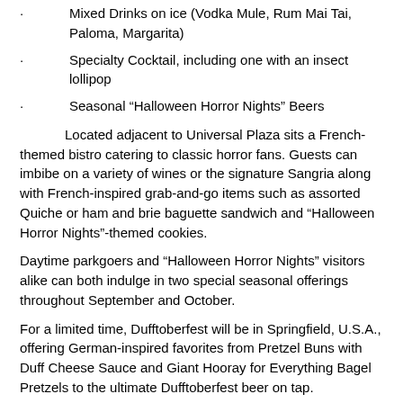· Mixed Drinks on ice (Vodka Mule, Rum Mai Tai, Paloma, Margarita)
· Specialty Cocktail, including one with an insect lollipop
· Seasonal “Halloween Horror Nights” Beers
Located adjacent to Universal Plaza sits a French-themed bistro catering to classic horror fans. Guests can imbibe on a variety of wines or the signature Sangria along with French-inspired grab-and-go items such as assorted Quiche or ham and brie baguette sandwich and “Halloween Horror Nights”-themed cookies.
Daytime parkgoers and “Halloween Horror Nights” visitors alike can both indulge in two special seasonal offerings throughout September and October.
For a limited time, Dufftoberfest will be in Springfield, U.S.A., offering German-inspired favorites from Pretzel Buns with Duff Cheese Sauce and Giant Hooray for Everything Bagel Pretzels to the ultimate Dufftoberfest beer on tap.